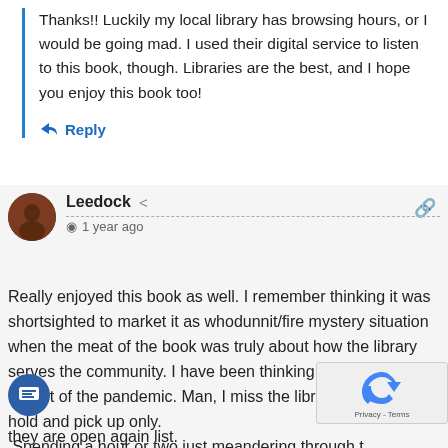Thanks!! Luckily my local library has browsing hours, or I would be going mad. I used their digital service to listen to this book, though. Libraries are the best, and I hope you enjoy this book too!
Reply
Leedock
1 year ago
Really enjoyed this book as well. I remember thinking it was shortsighted to market it as whodunnit/fire mystery situation when the meat of the book was truly about how the library serves the community. I have been thinking about that a lot in light of the pandemic. Man, I miss the library. Ours are hold and pick up only. Spending a hour or two just meandering through the stacks is top of the post-Covid/new normal/when they are open again list.